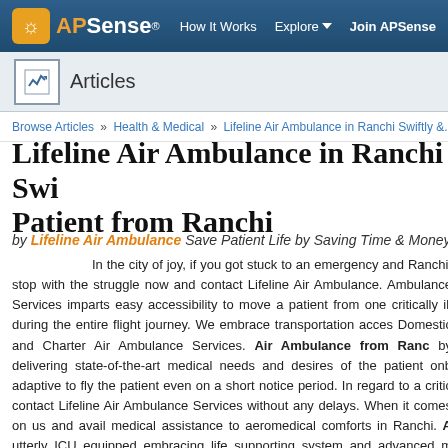APSense | How It Works | Explore | Join APSense
Articles
Browse Articles » Health & Medical » Lifeline Air Ambulance in Ranchi Swiftly &...
Lifeline Air Ambulance in Ranchi Swiftly Patient from Ranchi
by Lifeline Air Ambulance Save Patient Life by Saving Time & Money
In the city of joy, if you got stuck to an emergency and Ranchi, stop with the struggle now and contact Lifeline Air Ambulance. Ambulance Services imparts easy accessibility to move a patient from one critically ill during the entire flight journey. We embrace transportation acces Domestic and Charter Air Ambulance Services. Air Ambulance from Ranc by delivering state-of-the-art medical needs and desires of the patient onb adaptive to fly the patient even on a short notice period. In regard to a critic contact Lifeline Air Ambulance Services without any delays. When it comes on us and avail medical assistance to aeromedical comforts in Ranchi. A utterly ICU equipped embracing life supporting system and advanced m condition. The service provides the utmost dedication and medical care to th necessity for a desire to cherish.